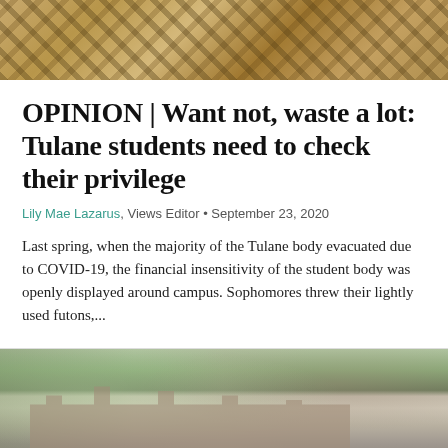[Figure (photo): Close-up photo of wooden chairs or furniture stacked together, warm golden-brown tones]
OPINION | Want not, waste a lot: Tulane students need to check their privilege
Lily Mae Lazarus, Views Editor • September 23, 2020
Last spring, when the majority of the Tulane body evacuated due to COVID-19, the financial insensitivity of the student body was openly displayed around campus. Sophomores threw their lightly used futons,...
[Figure (photo): Exterior photo of Tulane University campus building, a historic red-brick building with trees in the foreground]